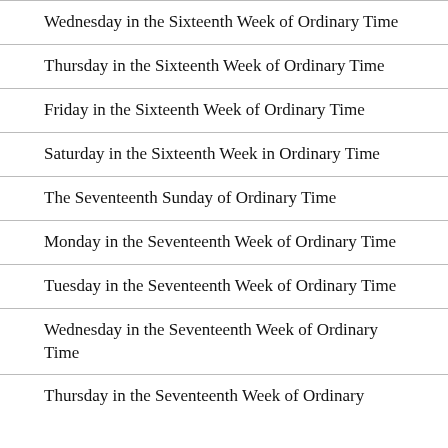Wednesday in the Sixteenth Week of Ordinary Time
Thursday in the Sixteenth Week of Ordinary Time
Friday in the Sixteenth Week of Ordinary Time
Saturday in the Sixteenth Week in Ordinary Time
The Seventeenth Sunday of Ordinary Time
Monday in the Seventeenth Week of Ordinary Time
Tuesday in the Seventeenth Week of Ordinary Time
Wednesday in the Seventeenth Week of Ordinary Time
Thursday in the Seventeenth Week of Ordinary